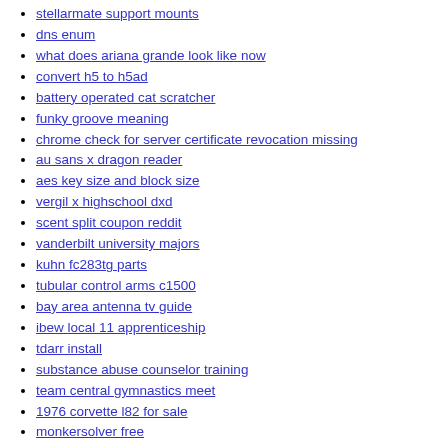stellarmate support mounts
dns enum
what does ariana grande look like now
convert h5 to h5ad
battery operated cat scratcher
funky groove meaning
chrome check for server certificate revocation missing
au sans x dragon reader
aes key size and block size
vergil x highschool dxd
scent split coupon reddit
vanderbilt university majors
kuhn fc283tg parts
tubular control arms c1500
bay area antenna tv guide
ibew local 11 apprenticeship
tdarr install
substance abuse counselor training
team central gymnastics meet
1976 corvette l82 for sale
monkersolver free
e scrap prices near me
yo gotti lawyer
amazon orientation pay
pictionary original rules